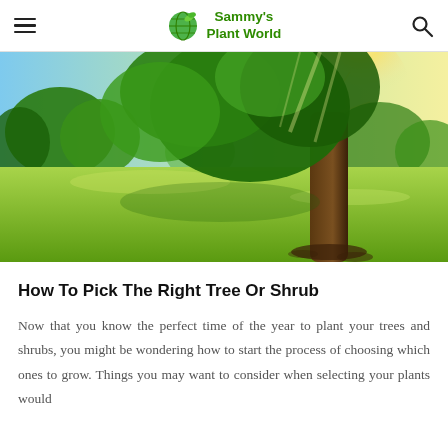Sammy's Plant World
[Figure (photo): Scenic outdoor photograph of a large tree with sunlight streaming through its canopy over a lush green meadow.]
How To Pick The Right Tree Or Shrub
Now that you know the perfect time of the year to plant your trees and shrubs, you might be wondering how to start the process of choosing which ones to grow. Things you may want to consider when selecting your plants would